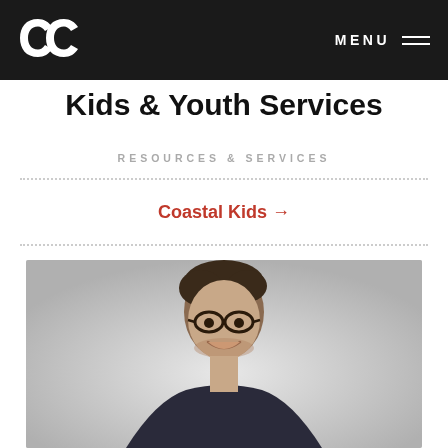CC MENU
Kids & Youth Services
RESOURCES & SERVICES
Coastal Kids →
[Figure (photo): Headshot of a smiling man with dark hair, glasses, and stubble, wearing a dark jacket, against a light grey background]